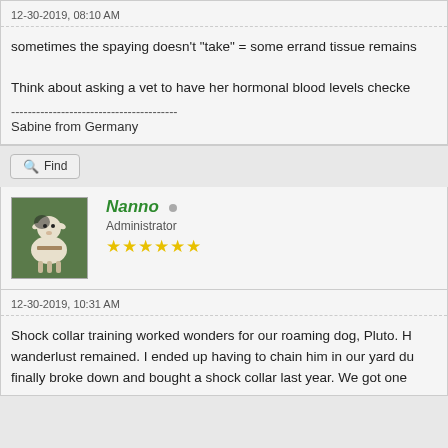12-30-2019, 08:10 AM
sometimes the spaying doesn't "take" = some errand tissue remains
Think about asking a vet to have her hormonal blood levels checked
----------------------------------------
Sabine from Germany
Find
Nanno
Administrator
★★★★★★
12-30-2019, 10:31 AM
Shock collar training worked wonders for our roaming dog, Pluto. H wanderlust remained. I ended up having to chain him in our yard du finally broke down and bought a shock collar last year. We got one